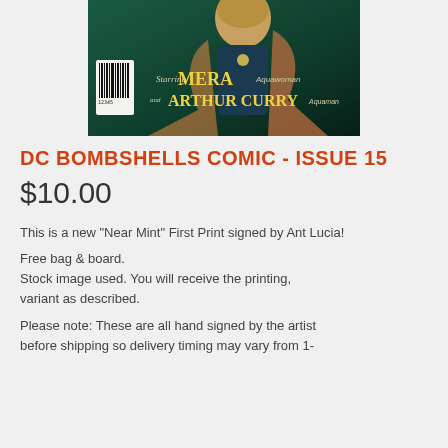[Figure (illustration): Comic book cover showing Mera as Aquawoman and Arthur Curry as Aquaman with text 'Starring MERA Aquawoman and ARTHUR CURRY Aquaman' on a dark teal background with a barcode visible.]
DC BOMBSHELLS COMIC - ISSUE 15
$10.00
This is a new "Near Mint" First Print signed by Ant Lucia!
Free bag & board.
Stock image used. You will receive the printing, variant as described.
Please note: These are all hand signed by the artist before shipping so delivery timing may vary from 1-